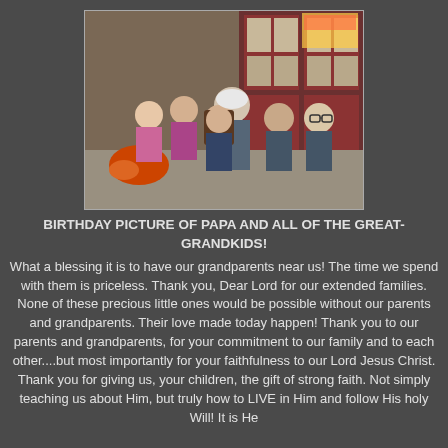[Figure (photo): A group photo of an elderly man (Papa) seated with several young great-grandchildren in front of a building with red doors. The children are surrounding the man, smiling at the camera.]
BIRTHDAY PICTURE OF PAPA AND ALL OF THE GREAT-GRANDKIDS!
What a blessing it is to have our grandparents near us!  The time we spend with them is priceless.  Thank you, Dear Lord for our extended families.  None of these precious little ones would be possible without our parents and grandparents.  Their love made today happen!  Thank you to our parents and grandparents, for your commitment to our family and to each other....but most importantly for your faithfulness to our Lord Jesus Christ.  Thank you for giving us, your children, the gift of strong faith. Not simply teaching us about Him, but truly how to LIVE in Him and follow His holy Will!  It is He